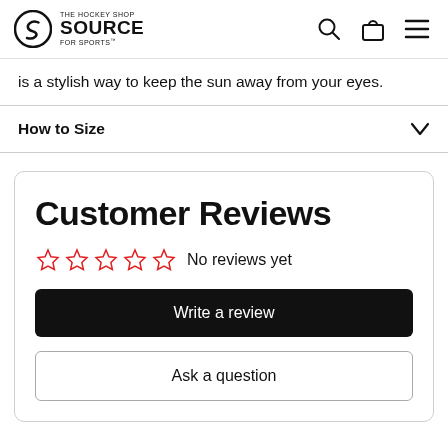THE HOCKEY SHOP SOURCE FOR SPORTS
is a stylish way to keep the sun away from your eyes.
How to Size
Customer Reviews
No reviews yet
Write a review
Ask a question